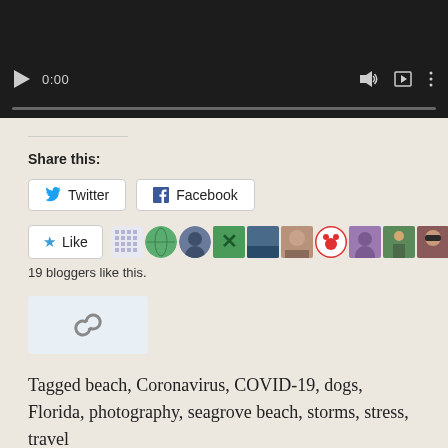[Figure (screenshot): Video player with dark background showing controls: play button, time 0:00, volume icon, fullscreen icon, and menu icon. Progress bar below.]
Share this:
[Figure (screenshot): Twitter share button and Facebook share button side by side]
[Figure (screenshot): Like button with star icon, followed by avatar strip of 9 blogger profile images]
19 bloggers like this.
[Figure (other): Link/reblog widget icon on light blue background]
Tagged beach, Coronavirus, COVID-19, dogs, Florida, photography, seagrove beach, storms, stress, travel